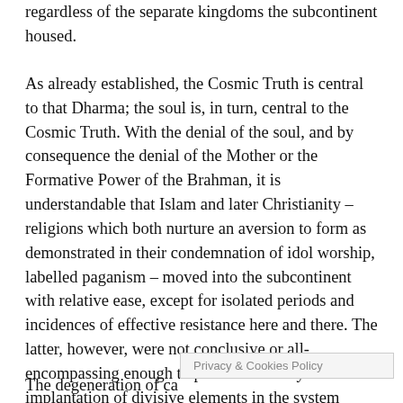regardless of the separate kingdoms the subcontinent housed.
As already established, the Cosmic Truth is central to that Dharma; the soul is, in turn, central to the Cosmic Truth. With the denial of the soul, and by consequence the denial of the Mother or the Formative Power of the Brahman, it is understandable that Islam and later Christianity – religions which both nurture an aversion to form as demonstrated in their condemnation of idol worship, labelled paganism – moved into the subcontinent with relative ease, except for isolated periods and incidences of effective resistance here and there. The latter, however, were not conclusive or all-encompassing enough to protect the Body from an implantation of divisive elements in the system which would take decades and centuries to eliminate.
The degeneration of ca[ste] ... [on] that
Privacy & Cookies Policy